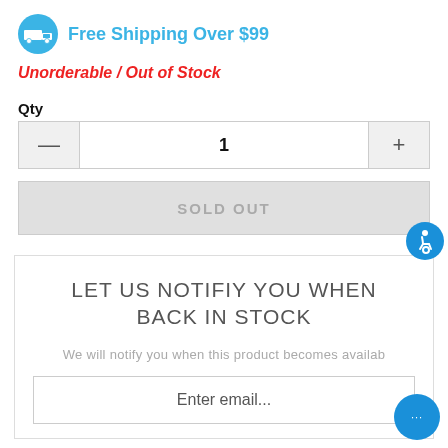[Figure (infographic): Blue circle icon with white delivery truck silhouette, followed by blue text 'Free Shipping Over $99']
Unorderable / Out of Stock
Qty
[Figure (infographic): Quantity stepper UI with minus button, value '1', and plus button]
[Figure (infographic): Sold Out button, grey, disabled, with text 'SOLD OUT']
[Figure (infographic): Blue circular accessibility icon (wheelchair symbol) in upper right]
LET US NOTIFIY YOU WHEN BACK IN STOCK
We will notify you when this product becomes available again.
Enter email...
[Figure (infographic): Blue circular chat bubble icon with three dots (...)]